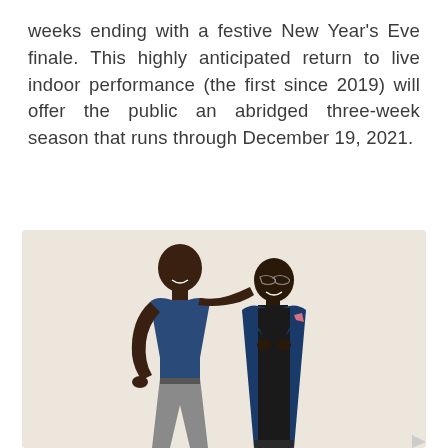weeks ending with a festive New Year's Eve finale. This highly anticipated return to live indoor performance (the first since 2019) will offer the public an abridged three-week season that runs through December 19, 2021.
[Figure (photo): Two men posing together against a light beige background. The taller man on the left wears a navy blue tank top and grey pants with a tattoo on his arm, smiling. The shorter man on the right wears a navy blue blazer with a pink pocket square over a black polo shirt, also smiling, with glasses. The taller man has his arm resting on the shorter man's shoulder.]